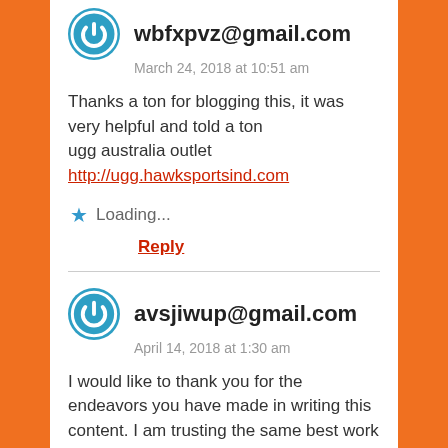wbfxpvz@gmail.com
March 24, 2018 at 10:51 am
Thanks a ton for blogging this, it was very helpful and told a ton
ugg australia outlet http://ugg.hawksportsind.com
Loading...
Reply
avsjiwup@gmail.com
April 14, 2018 at 1:30 am
I would like to thank you for the endeavors you have made in writing this content. I am trusting the same best work from you in the future as well. In fact your creative writing abilities has inspired me to start my own website now. Actually the blogging is spreading its wings rapidly. Your write up is a fine